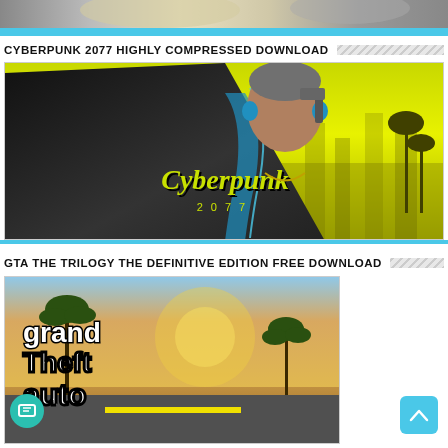[Figure (screenshot): Top partial image of a game or comic artwork, partially cropped at top]
CYBERPUNK 2077 HIGHLY COMPRESSED DOWNLOAD
[Figure (screenshot): Cyberpunk 2077 game cover art showing a character with gun and yellow/green background with Cyberpunk 2077 logo]
GTA THE TRILOGY THE DEFINITIVE EDITION FREE DOWNLOAD
[Figure (screenshot): GTA The Trilogy game cover art showing Grand Theft Auto logo with palm trees and sunset background]